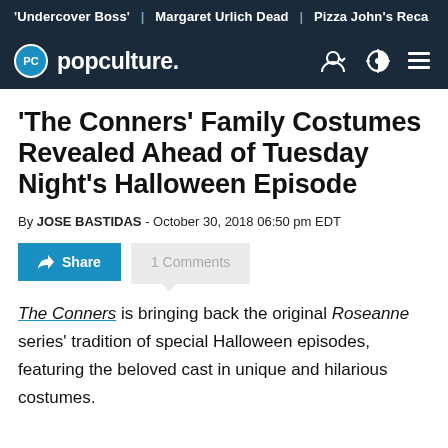'Undercover Boss' | Margaret Urlich Dead | Pizza John's Reca
popculture.
'The Conners' Family Costumes Revealed Ahead of Tuesday Night's Halloween Episode
By JOSE BASTIDAS - October 30, 2018 06:50 pm EDT
Share   1 Comments
The Conners is bringing back the original Roseanne series' tradition of special Halloween episodes, featuring the beloved cast in unique and hilarious costumes.